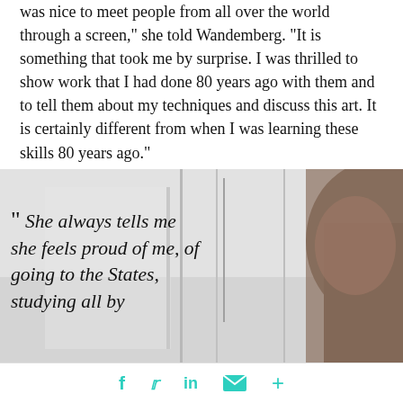was nice to meet people from all over the world through a screen,” she told Wandemberg. “It is something that took me by surprise. I was thrilled to show work that I had done 80 years ago with them and to tell them about my techniques and discuss this art. It is certainly different from when I was learning these skills 80 years ago.”
[Figure (photo): A person with dark hair seen from behind, against a light background with vertical lines suggesting a window or mirror]
“ She always tells me she feels proud of me, of going to the States, studying all by
f  🐦  in  ✉  +